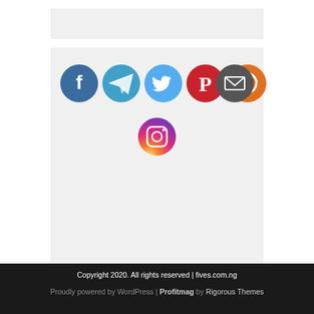[Figure (other): Row of social media icon circles: Facebook (blue), Telegram (blue), Twitter (light blue), Pinterest (red), RSS (orange), Email (dark gray), and below center an Instagram circle with gradient]
Copyright 2020. All rights reserved | fives.com.ng
Proudly powered by WordPress | Profitmag by Rigorous Themes